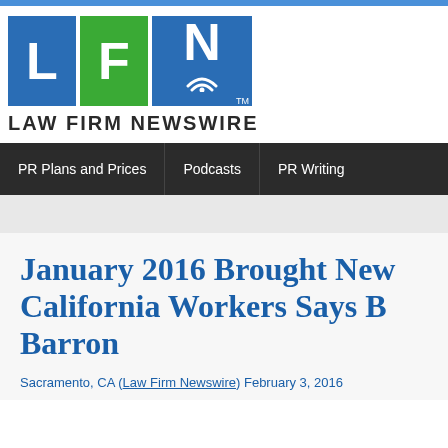[Figure (logo): Law Firm Newswire logo with blue L block, green F block, blue N block with wifi icon, and text LAW FIRM NEWSWIRE below]
PR Plans and Prices | Podcasts | PR Writing
January 2016 Brought New Laws for California Workers Says B... Barron
Sacramento, CA (Law Firm Newswire) February 3, 2016...